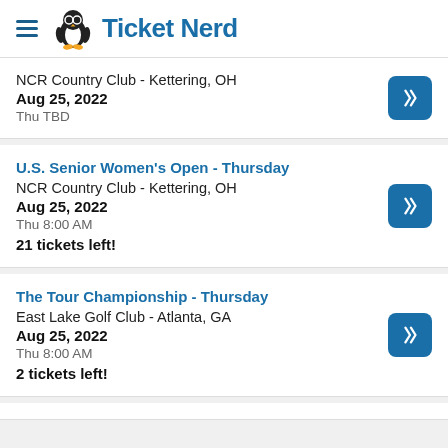Ticket Nerd
NCR Country Club - Kettering, OH
Aug 25, 2022
Thu TBD
U.S. Senior Women's Open - Thursday
NCR Country Club - Kettering, OH
Aug 25, 2022
Thu 8:00 AM
21 tickets left!
The Tour Championship - Thursday
East Lake Golf Club - Atlanta, GA
Aug 25, 2022
Thu 8:00 AM
2 tickets left!